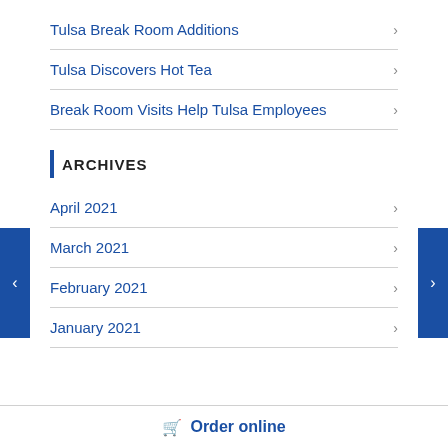Tulsa Break Room Additions
Tulsa Discovers Hot Tea
Break Room Visits Help Tulsa Employees
ARCHIVES
April 2021
March 2021
February 2021
January 2021
Order online